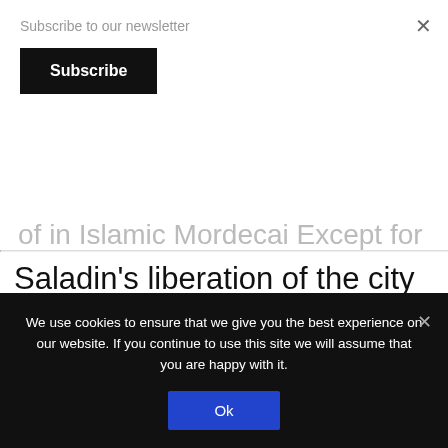Subscribe to our newsletter
Subscribe
of in Islamic Mordecai Except for
Saladin’s liberation of the city from the Crusaders, there are no reports that Muslim caliphs, anywhere or at anytime, held any special occasions in Jerusalem, or lavished Al-Aqsa with money. And
We use cookies to ensure that we give you the best experience on our website. If you continue to use this site we will assume that you are happy with it.
Ok